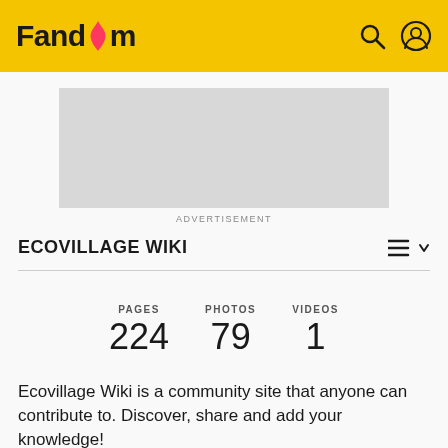Fandom
[Figure (other): Gray advertisement placeholder box]
ADVERTISEMENT
ECOVILLAGE WIKI
| PAGES | PHOTOS | VIDEOS |
| --- | --- | --- |
| 224 | 79 | 1 |
Ecovillage Wiki is a community site that anyone can contribute to. Discover, share and add your knowledge!